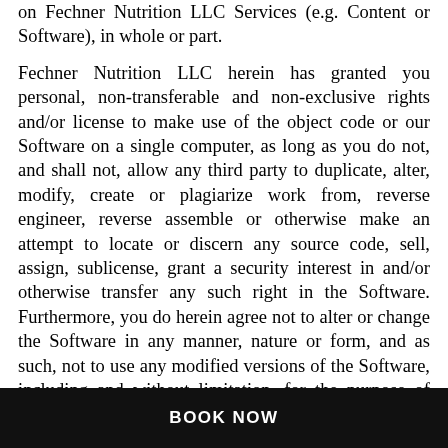on Fechner Nutrition LLC Services (e.g. Content or Software), in whole or part.

Fechner Nutrition LLC herein has granted you personal, non-transferable and non-exclusive rights and/or license to make use of the object code or our Software on a single computer, as long as you do not, and shall not, allow any third party to duplicate, alter, modify, create or plagiarize work from, reverse engineer, reverse assemble or otherwise make an attempt to locate or discern any source code, sell, assign, sublicense, grant a security interest in and/or otherwise transfer any such right in the Software. Furthermore, you do herein agree not to alter or change the Software in any manner, nature or form, and as such, not to use any modified versions of the Software, including and without limitation, for the purpose of obtaining unauthorized access to our Services. Lastly, you also agree not to access or a
BOOK NOW